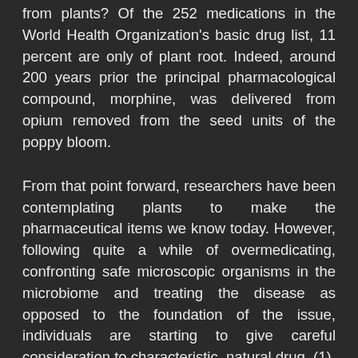from plants? Of the 252 medications in the World Health Organization's basic drug list, 11 percent are only of plant root. Indeed, around 200 years prior the principal pharmacological compound, morphine, was delivered from opium removed from the seed units of the poppy bloom.
From that point forward, researchers have been contemplating plants to make the pharmaceutical items we know today. However, following quite a while of overmedicating, confronting safe microscopic organisms in the microbiome and treating the disease as opposed to the foundation of the issue, individuals are starting to give careful consideration to characteristic, natural drug. (1)
A huge number of dollars have as of late been